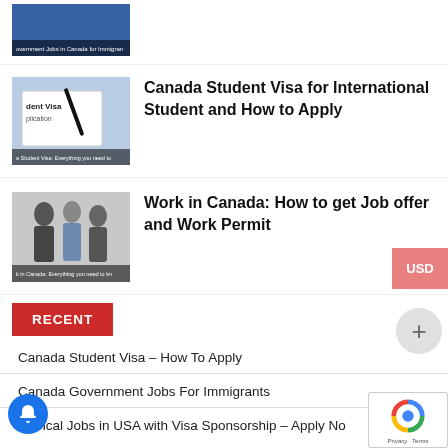[Figure (photo): Partial thumbnail image of Government Jobs in Canada for Immigrants article, showing a blue-tinted image with text overlay]
[Figure (photo): Thumbnail of Canada Student Visa application form with a pen]
Canada Student Visa for International Student and How to Apply
[Figure (photo): Thumbnail of Work in Canada article showing people in business attire having a conversation]
Work in Canada: How to get Job offer and Work Permit
RECENT
Canada Student Visa – How To Apply
Canada Government Jobs For Immigrants
Clerical Jobs in USA with Visa Sponsorship – Apply No